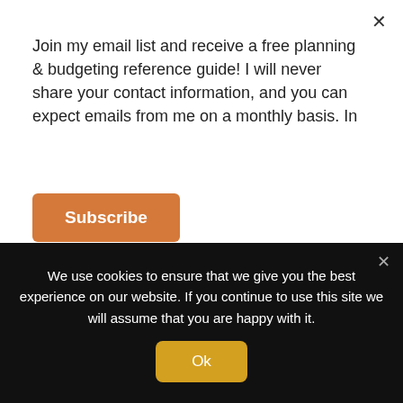Join my email list and receive a free planning & budgeting reference guide! I will never share your contact information, and you can expect emails from me on a monthly basis. In
Subscribe
Hi Sarah,
Big fan here. Was wondering if you'd mind sharing where this great planner is from? Apologies if you've already covered it. Thanks!
We use cookies to ensure that we give you the best experience on our website. If you continue to use this site we will assume that you are happy with it.
Ok